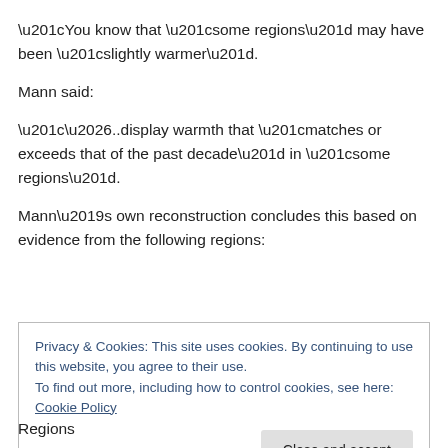“You know that “some regions” may have been “slightly warmer”.
Mann said:
“…..display warmth that “matches or exceeds that of the past decade” in “some regions”.
Mann’s own reconstruction concludes this based on evidence from the following regions:
Privacy & Cookies: This site uses cookies. By continuing to use this website, you agree to their use.
To find out more, including how to control cookies, see here: Cookie Policy
Regions